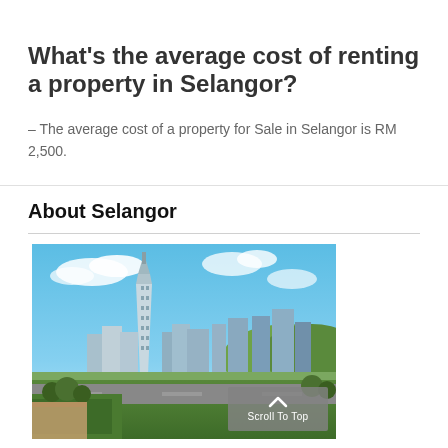What's the average cost of renting a property in Selangor?
- The average cost of a property for Sale in Selangor is RM 2,500.
About Selangor
[Figure (photo): Aerial/skyline view of Selangor city with modern skyscrapers, green areas, and blue sky with clouds]
Scroll To Top